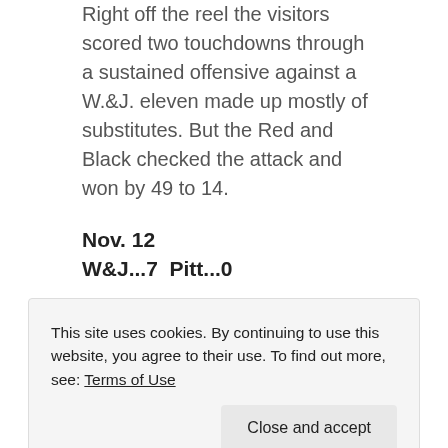Right off the reel the visitors scored two touchdowns through a sustained offensive against a W.&J. eleven made up mostly of substitutes. But the Red and Black checked the attack and won by 49 to 14.
Nov. 12
W&J...7  Pitt...0
On November 12, Washington and Jefferson rose to its greatest effort in the sectional championship game with the University of Pittsburgh, at Forbes Field, winning by 7 to 0. The result was the more noteworthy, for the reason that the Presidents had not defeated Pitt since 1914. We doubt if this team was one of f...
This site uses cookies. By continuing to use this website, you agree to their use. To find out more, see: Terms of Use
superior brand of football.